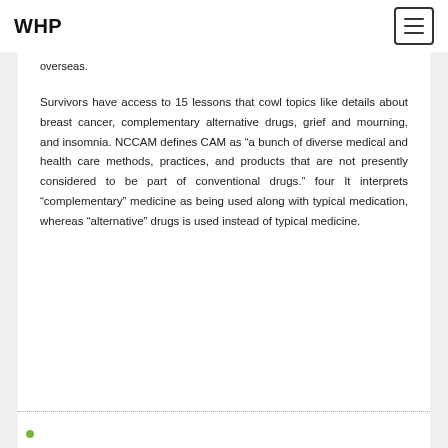WHP
overseas.
Survivors have access to 15 lessons that cowl topics like details about breast cancer, complementary alternative drugs, grief and mourning, and insomnia. NCCAM defines CAM as “a bunch of diverse medical and health care methods, practices, and products that are not presently considered to be part of conventional drugs.” four It interprets “complementary” medicine as being used along with typical medication, whereas “alternative” drugs is used instead of typical medicine.